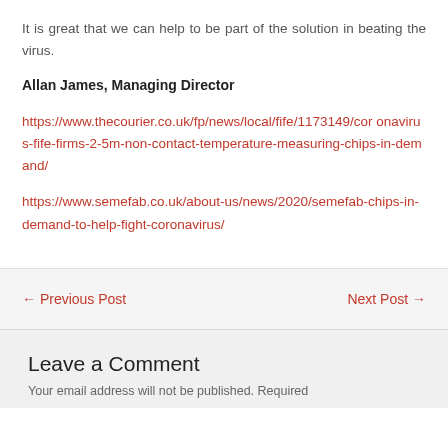It is great that we can help to be part of the solution in beating the virus.
Allan James, Managing Director
https://www.thecourier.co.uk/fp/news/local/fife/1173149/coronavirus-fife-firms-2-5m-non-contact-temperature-measuring-chips-in-demand/
https://www.semefab.co.uk/about-us/news/2020/semefab-chips-in-demand-to-help-fight-coronavirus/
← Previous Post   Next Post →
Leave a Comment
Your email address will not be published. Required